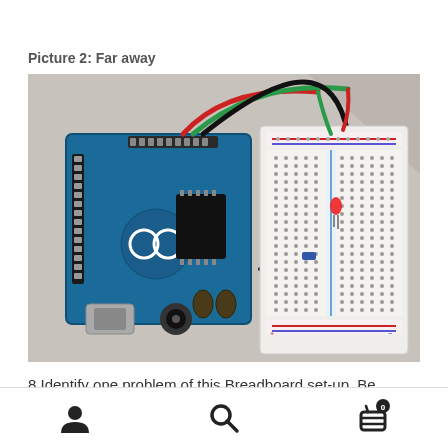Picture 2: Far away
[Figure (photo): Photograph taken from far away showing an Arduino Uno microcontroller board connected by wires (red, green, black) to a breadboard with a red LED inserted. The Arduino and breadboard are placed on a grey/white surface.]
8 Identify one problem of this Breadboard set-up. Be
User icon | Search icon | Cart icon with badge 0